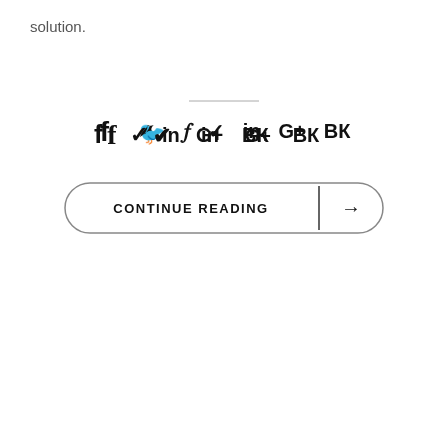solution.
[Figure (other): Horizontal divider line]
[Figure (other): Social media share icons: f (Facebook), bird (Twitter), in (LinkedIn), G+ (Google Plus), VK]
[Figure (other): Continue Reading button with right arrow, pill-shaped outline, divider between text and arrow]